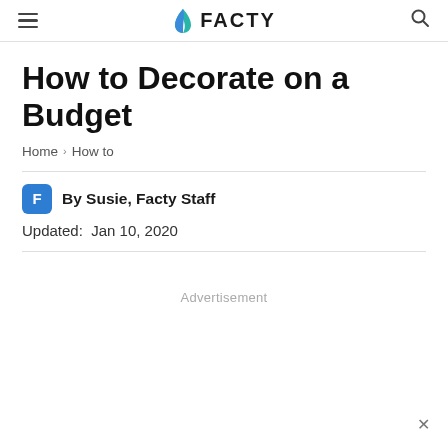≡  🌿 FACTY  🔍
How to Decorate on a Budget
Home > How to
By Susie, Facty Staff
Updated: Jan 10, 2020
Advertisement